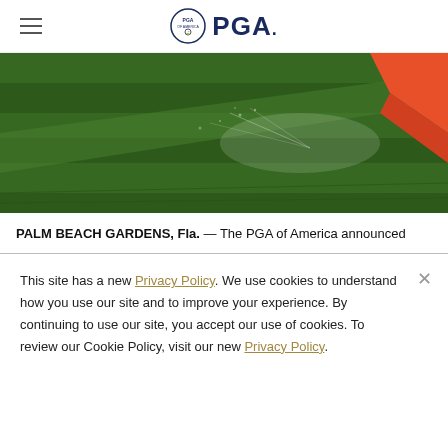PGA
[Figure (photo): Close-up photo of a golf course green with sprinklers and a person holding a red object in the upper right corner]
PALM BEACH GARDENS, Fla. — The PGA of America announced
This site has a new Privacy Policy. We use cookies to understand how you use our site and to improve your experience. By continuing to use our site, you accept our use of cookies. To review our Cookie Policy, visit our new Privacy Policy.